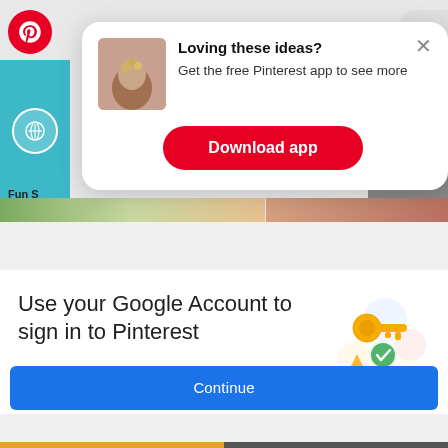[Figure (screenshot): Pinterest app download popup overlay on a Pinterest page showing jewelry images. Popup contains bold heading 'Loving these ideas?', subtitle 'Get the free Pinterest app to see more', and a red 'Download app' button. Background shows Pinterest logo, teal and gray image tiles, plant and nail photo strips.]
Loving these ideas?
Get the free Pinterest app to see more
Download app
Fun S... Diamo...
[Figure (screenshot): Google 'Sign in with Google' bar at top, then Google account dialog: 'Use your Google Account to sign in to Pinterest'. Subtitle: 'No more passwords to remember. Signing in is fast, simple and secure.' Key illustration on right. Blue 'Continue' button at bottom.]
Sign in with Google
Use your Google Account to sign in to Pinterest
No more passwords to remember. Signing in is fast, simple and secure.
Continue